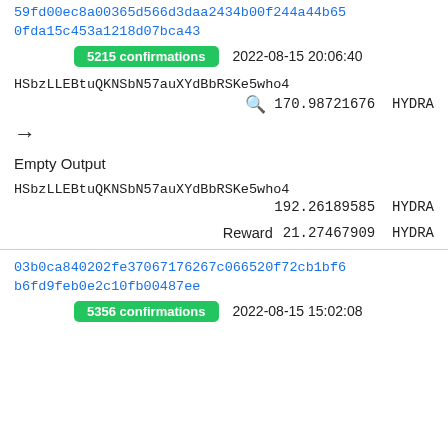59fd00ec8a00365d566d3daa2434b00f244a44b650fda15c453a1218d07bca43
5215 confirmations   2022-08-15 20:06:40
HSbzLLEBtuQKNSbN57auXYdBbRSKe5who4
170.98721676 HYDRA
→
Empty Output
HSbzLLEBtuQKNSbN57auXYdBbRSKe5who4
192.26189585 HYDRA
Reward  21.27467909 HYDRA
03b0ca840202fe37067176267c066520f72cb1bf6b6fd9feb0e2c10fb00487ee
5356 confirmations   2022-08-15 15:02:08